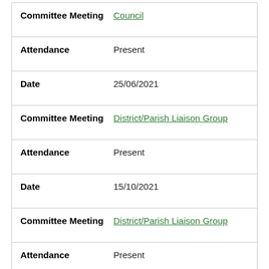| Field | Value |
| --- | --- |
| Committee Meeting | Council |
| Attendance | Present |
| Date | 25/06/2021 |
| Committee Meeting | District/Parish Liaison Group |
| Attendance | Present |
| Date | 15/10/2021 |
| Committee Meeting | District/Parish Liaison Group |
| Attendance | Present |
| Date | 11/11/2021 |
| Committee Meeting | Employment and Appeals Committee |
| Attendance | Present |